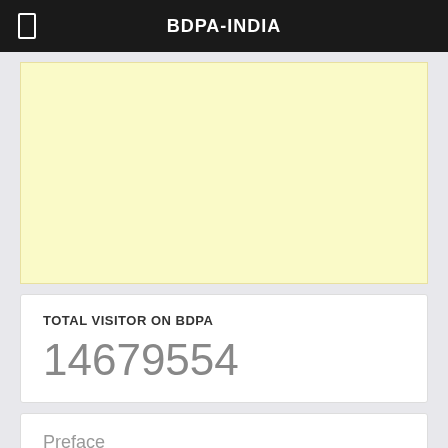BDPA-INDIA
[Figure (other): Yellow advertisement banner area]
TOTAL VISITOR ON BDPA
14679554
Preface